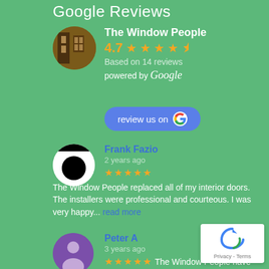Google Reviews
[Figure (illustration): Circular business avatar showing interior room/window shop photo]
The Window People
4.7 ★★★★½ Based on 14 reviews powered by Google
[Figure (illustration): Blue rounded button: review us on Google (G icon)]
[Figure (illustration): Circular reviewer avatar with black circle on white background (Frank Fazio)]
Frank Fazio
2 years ago
★★★★★ The Window People replaced all of my interior doors. The installers were professional and courteous. I was very happy... read more
[Figure (illustration): Purple circular avatar with generic person silhouette (Peter A)]
Peter A
3 years ago
★★★★★ The Window People have
[Figure (illustration): reCAPTCHA badge with Privacy - Terms text]